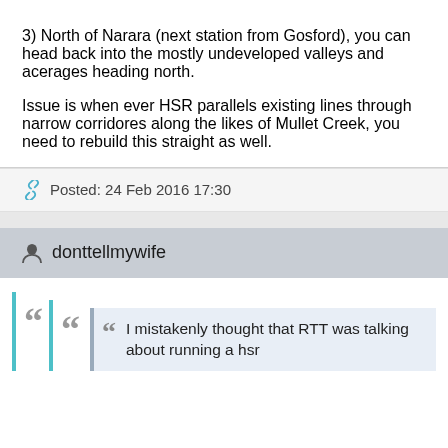3) North of Narara (next station from Gosford), you can head back into the mostly undeveloped valleys and acerages heading north.

Issue is when ever HSR parallels existing lines through narrow corridores along the likes of Mullet Creek, you need to rebuild this straight as well.
Posted: 24 Feb 2016 17:30
donttellmywife
I mistakenly thought that RTT was talking about running a hsr